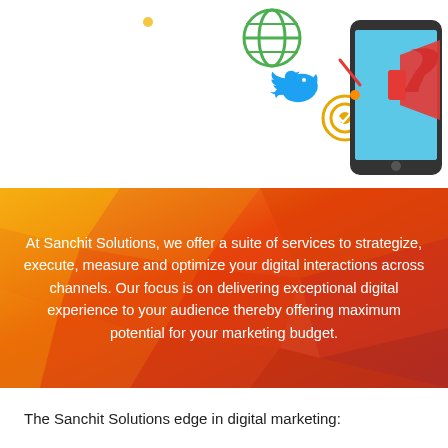[Figure (illustration): Digital marketing illustration with a globe icon (green), Twitter bird icon (blue), target icon (yellow/gold), and a hand holding a smartphone with a red megaphone/bullhorn graphic on the screen. Various colored dots scattered around.]
At Sanchit Solutions, we offer a suite of services to strategize, execute, measure and optimize your digital interactions across channels. Our focus is on delivering exceptional digital experience to your audience thereby offering maximum potential for your marketing budget.
The Sanchit Solutions edge in digital marketing: